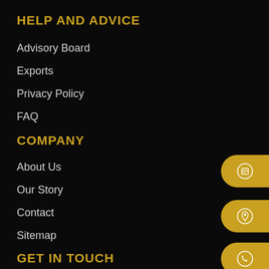HELP AND ADVICE
Advisory Board
Exports
Privacy Policy
FAQ
COMPANY
About Us
Our Story
Contact
Sitemap
GET IN TOUCH
Feel Free to get in touch with us via email